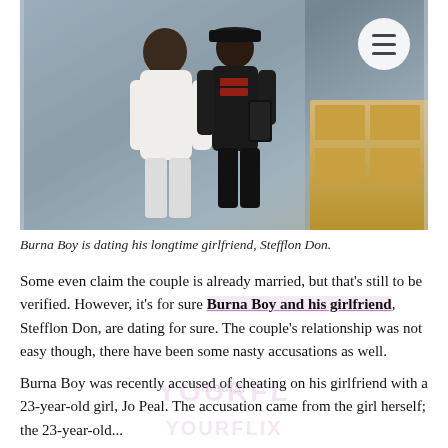[Figure (photo): Mirror selfie photo of Burna Boy and Stefflon Don. He is wearing a white outfit, she is wearing a dark cap and dark hoodie, taking the photo in a mirror with a hotel room visible in the background. A circular hamburger menu button is overlaid in the top right corner of the photo.]
Burna Boy is dating his longtime girlfriend, Stefflon Don.
Some even claim the couple is already married, but that's still to be verified. However, it's for sure Burna Boy and his girlfriend, Stefflon Don, are dating for sure. The couple's relationship was not easy though, there have been some nasty accusations as well.
Burna Boy was recently accused of cheating on his girlfriend with a 23-year-old girl, Jo Peal. The accusation came from the girl herself; the 23-year-old...